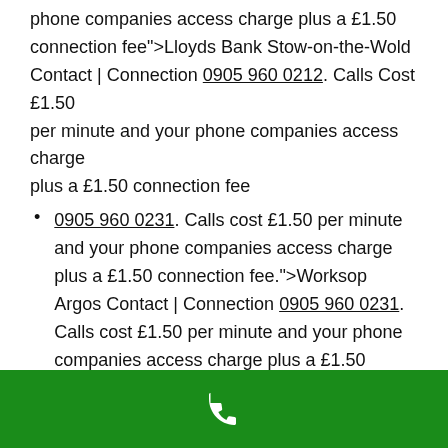phone companies access charge plus a £1.50 connection fee">Lloyds Bank Stow-on-the-Wold Contact | Connection 0905 960 0212. Calls Cost £1.50 per minute and your phone companies access charge plus a £1.50 connection fee
0905 960 0231. Calls cost £1.50 per minute and your phone companies access charge plus a £1.50 connection fee.">Worksop Argos Contact | Connection 0905 960 0231. Calls cost £1.50 per minute and your phone companies access charge plus a £1.50 connection fee.
0905 960 0216. This call connection service costs £1.50 per minute & your phone company's access charge plus a £1.50 connection fee.">Natwest in Newhaven Phone Number | Connection 0905 960 0216. This call connection service costs £1.50...
[Figure (other): Green footer bar with white phone handset icon]